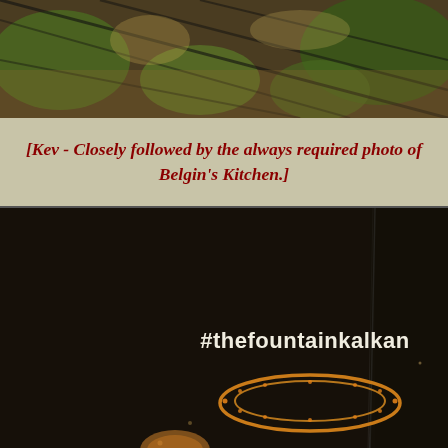[Figure (photo): Aerial or overhead view of a garden/courtyard area with lattice/grid structures, trees and greenery visible, warm tones]
[Kev - Closely followed by the always required photo of Belgin's Kitchen.]
[Figure (photo): Dark restaurant menu or book cover showing '#thefountainkalkan' text in white/bold and an orange decorative oval/ring logo element against a dark brown/black background]